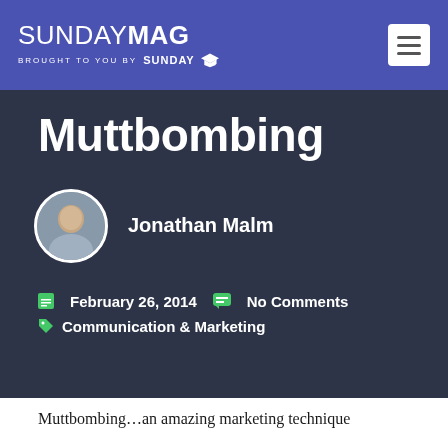SUNDAY MAG — BROUGHT TO YOU BY SUNDAY U
Muttbombing
Jonathan Malm
February 26, 2014   No Comments
Communication & Marketing
Muttbombing…an amazing marketing technique